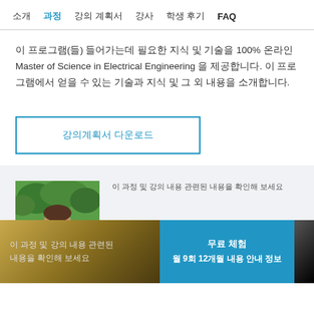소개  과정  강의 계획서  강사  학생 후기  FAQ
이 프로그램(들) 들어가는데 필요한 지식 및 기술을 100% 온라인 Master of Science in Electrical Engineering 을 제공합니다. 이 프로그램에서 얻을 수 있는 기술과 지식 및 그 외 내용을 소개합니다.
강의계획서 다운로드
[Figure (photo): Photo of a man with glasses outdoors near trees]
이 과정 및 강의 내용 관련된 내용을 확인해 보세요
무료 체험
월 9회 12개월 내용 안내 정보